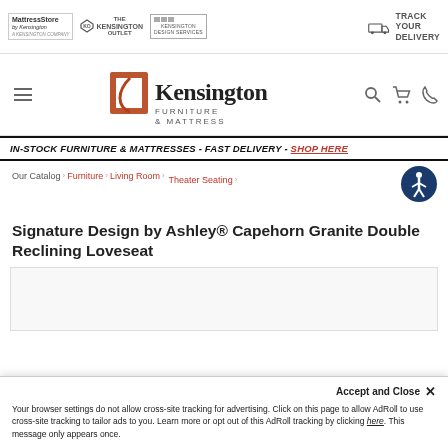Mattress Store by Kensington | The Kensington Outlet | Kensington Design Services | Track Your Delivery
[Figure (logo): Kensington Furniture & Mattress main logo with hamburger menu, search, cart, and phone icons]
IN-STOCK FURNITURE & MATTRESSES - FAST DELIVERY - SHOP HERE
Our Catalog › Furniture › Living Room › Theater Seating ›
Signature Design by Ashley® Capehorn Granite Double Reclining Loveseat
[Figure (photo): Product image area placeholder for the Capehorn Granite Double Reclining Loveseat]
Accept and Close ✕
Your browser settings do not allow cross-site tracking for advertising. Click on this page to allow AdRoll to use cross-site tracking to tailor ads to you. Learn more or opt out of this AdRoll tracking by clicking here. This message only appears once.